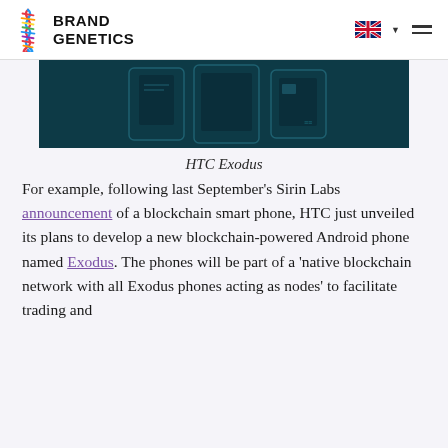BRAND GENETICS
[Figure (screenshot): Dark teal/navy background image showing HTC Exodus blockchain smartphone product renders — multiple phone screens visible]
HTC Exodus
For example, following last September's Sirin Labs announcement of a blockchain smart phone, HTC just unveiled its plans to develop a new blockchain-powered Android phone named Exodus. The phones will be part of a 'native blockchain network with all Exodus phones acting as nodes' to facilitate trading and